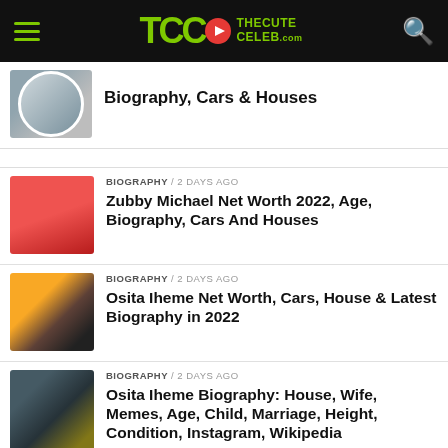TheCuteCeleb.com
Biography, Cars & Houses
BIOGRAPHY / 2 days ago
Zubby Michael Net Worth 2022, Age, Biography, Cars And Houses
BIOGRAPHY / 2 days ago
Osita Iheme Net Worth, Cars, House & Latest Biography in 2022
BIOGRAPHY / 2 days ago
Osita Iheme Biography: House, Wife, Memes, Age, Child, Marriage, Height, Condition, Instagram, Wikipedia
BIOGRAPHY / 2 days ago